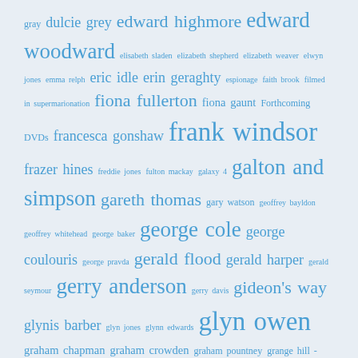gray dulcie grey edward highmore edward woodward elisabeth sladen elizabeth shepherd elizabeth weaver elwyn jones emma relph eric idle erin geraghty espionage faith brook filmed in supermarionation fiona fullerton fiona gaunt Forthcoming DVDs francesca gonshaw frank windsor frazer hines freddie jones fulton mackay galaxy 4 galton and simpson gareth thomas gary watson geoffrey bayldon geoffrey whitehead george baker george cole george coulouris george pravda gerald flood gerald harper gerald seymour gerry anderson gerry davis gideon's way glynis barber glyn jones glynn edwards glyn owen graham chapman graham crowden graham pountney grange hill - series 01 grange hill - series 02 grange hill - series 03 grange hill - series 04 grange hill - series 05 grange hill - series 06 grange hill - series 07 grange hill - series 08 grange hill - series 09 grange hill - series 10 grange hill - series 11 grange hill - series 12 grange hill - series 13 h.g. wells' invisible man hancock hancock's half hour harold